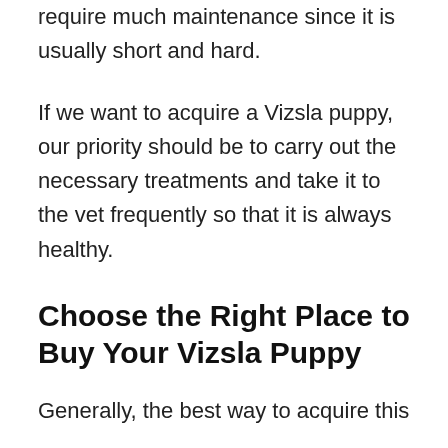require much maintenance since it is usually short and hard.
If we want to acquire a Vizsla puppy, our priority should be to carry out the necessary treatments and take it to the vet frequently so that it is always healthy.
Choose the Right Place to Buy Your Vizsla Puppy
Generally, the best way to acquire this